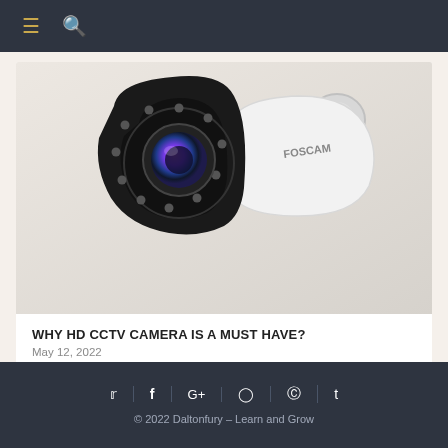≡  🔍 (navigation bar with menu and search icons)
[Figure (photo): Close-up of a FOSCAM brand HD CCTV bullet camera, black and white, showing the lens with IR LEDs around it, mounted on a white bracket.]
WHY HD CCTV CAMERA IS A MUST HAVE?
May 12, 2022
Social icons: Twitter, Facebook, Google+, Instagram, Pinterest, Tumblr | © 2022 Daltonfury – Learn and Grow